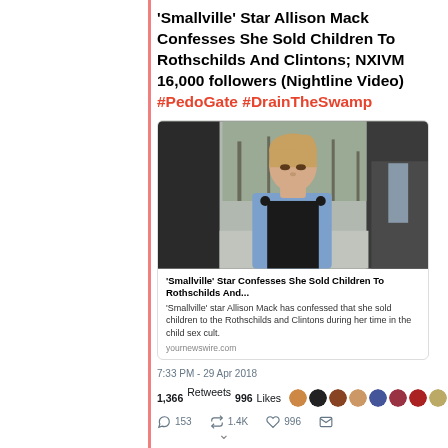'Smallville' Star Allison Mack Confesses She Sold Children To Rothschilds And Clintons; NXIVM 16,000 followers (Nightline Video) #PedoGate #DrainTheSwamp
[Figure (photo): Photo of Allison Mack walking outdoors wearing a denim jacket and backpack, flanked by people in dark suits. Bare trees visible in background.]
'Smallville' Star Confesses She Sold Children To Rothschilds And... 'Smallville' star Allison Mack has confessed that she sold children to the Rothschilds and Clintons during her time in the child sex cult. yournewswire.com
7:33 PM - 29 Apr 2018
1,366 Retweets  996 Likes
153  1.4K  996